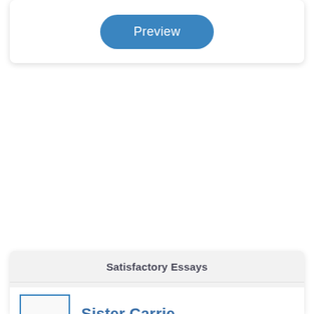[Figure (screenshot): A rounded card with a blue 'Preview' button centered inside it]
Satisfactory Essays
Sister Carrie